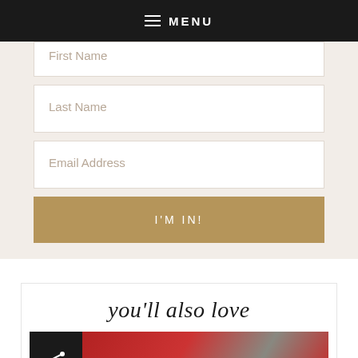MENU
[Figure (screenshot): Partially visible First Name input field (cropped at top)]
[Figure (screenshot): Last Name input field]
[Figure (screenshot): Email Address input field]
[Figure (screenshot): I'M IN! submit button (gold/tan colored)]
you'll also love
[Figure (screenshot): Card with share icon on left and red/glittery image on right, partially cropped]